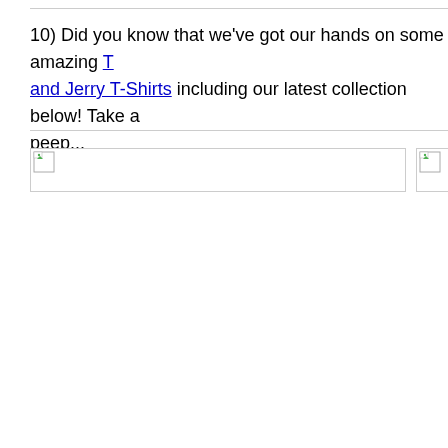10) Did you know that we've got our hands on some amazing Tom and Jerry T-Shirts including our latest collection below! Take a peep...
[Figure (other): Broken image placeholder 1 (wide)]
[Figure (other): Broken image placeholder 2 (small, partially visible)]